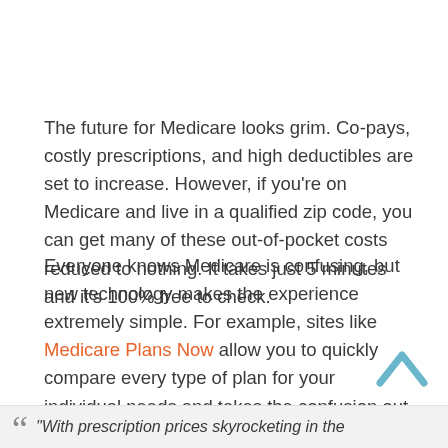The future for Medicare looks grim. Co-pays, costly prescriptions, and high deductibles are set to increase. However, if you're on Medicare and live in a qualified zip code, you can get many of these out-of-pocket costs reduced to nothing. It takes just 5 minutes and it's 100% free to check.
Everyone knows Medicare is confusing, but new technology makes the experience extremely simple. For example, sites like Medicare Plans Now allow you to quickly compare every type of plan for your individual needs and takes the confusion out of choosing a plan.
"With prescription prices skyrocketing in the...